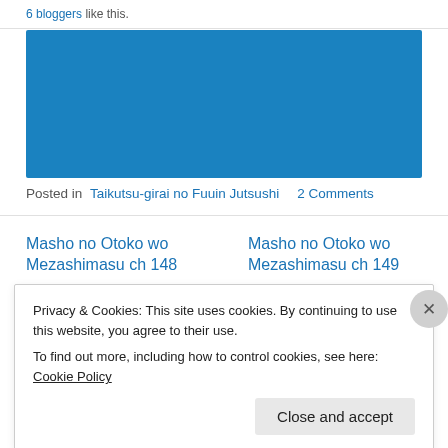6 bloggers like this.
[Figure (photo): Solid blue rectangle representing an image placeholder]
Posted in Taikutsu-girai no Fuuin Jutsushi   2 Comments
Masho no Otoko wo Mezashimasu ch 148
Masho no Otoko wo Mezashimasu ch 149
Privacy & Cookies: This site uses cookies. By continuing to use this website, you agree to their use.
To find out more, including how to control cookies, see here: Cookie Policy
Close and accept